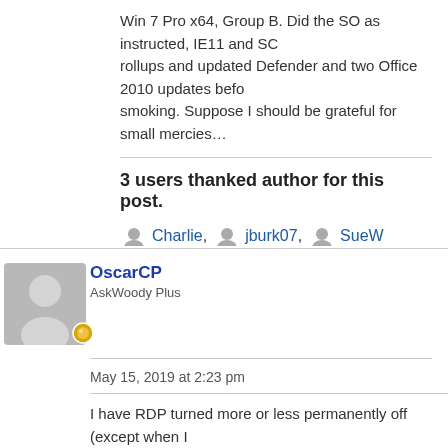Win 7 Pro x64, Group B. Did the SO as instructed, IE11 and SC rollups and updated Defender and two Office 2010 updates before smoking. Suppose I should be grateful for small mercies…
3 users thanked author for this post.
Charlie, jburk07, SueW
OscarCP
AskWoody Plus
May 15, 2019 at 2:23 pm
I have RDP turned more or less permanently off (except when I and, with the alternatives to Windows I have obtained already a to the contrary, I must assume they are OK already after their ve given the near-future EOL of Windows 7, I am also keeping my more days, to have some time to see how things develop. But,